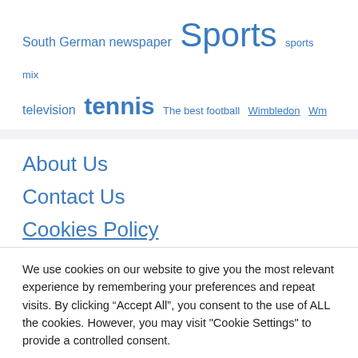South German newspaper  Sports  sports mix  television  tennis  The best football  Wimbledon  Wm
About Us
Contact Us
Cookies Policy
We use cookies on our website to give you the most relevant experience by remembering your preferences and repeat visits. By clicking “Accept All”, you consent to the use of ALL the cookies. However, you may visit "Cookie Settings" to provide a controlled consent.
Cookie Settings  Accept All